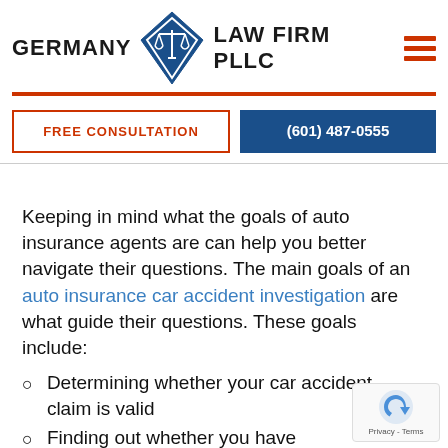[Figure (logo): Germany Law Firm PLLC logo with blue diamond/scales icon, red horizontal lines, and hamburger menu icon in orange-red. Below: FREE CONSULTATION button (red border) and (601) 487-0555 button (dark blue background).]
Keeping in mind what the goals of auto insurance agents are can help you better navigate their questions. The main goals of an auto insurance car accident investigation are what guide their questions. These goals include:
Determining whether your car accident claim is valid
Finding out whether you have